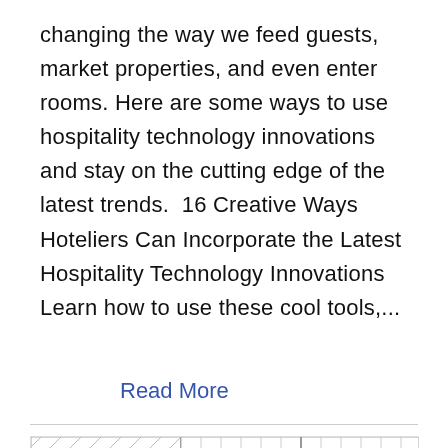changing the way we feed guests, market properties, and even enter rooms. Here are some ways to use hospitality technology innovations and stay on the cutting edge of the latest trends.  16 Creative Ways Hoteliers Can Incorporate the Latest Hospitality Technology Innovations Learn how to use these cool tools,...
Read More
[Figure (illustration): Partial sketch/illustration showing a grid-like architectural or panel drawing with diagonal shading lines in the upper left panels, and vertical lines on the right side panels. The image is cut off at the bottom of the page.]